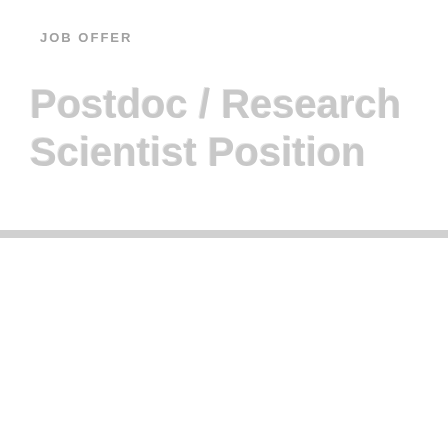JOB OFFER
Postdoc / Research Scientist Position